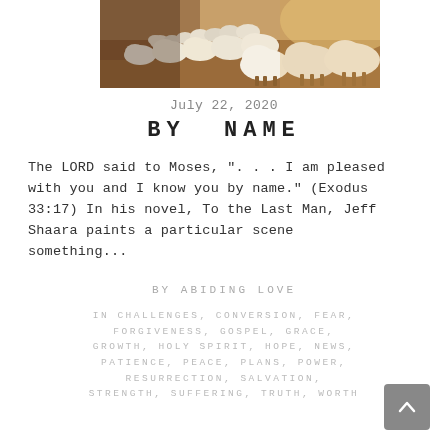[Figure (photo): A flock of sheep walking on reddish-brown dirt, photographed from a low angle with backlit warm light.]
July 22, 2020
BY NAME
The LORD said to Moses, ". . . I am pleased with you and I know you by name." (Exodus 33:17) In his novel, To the Last Man, Jeff Shaara paints a particular scene something...
BY ABIDING LOVE
IN CHALLENGES, CONVERSION, FEAR, FORGIVENESS, GOSPEL, GRACE, GROWTH, HOLY SPIRIT, HOPE, NEWS, PATIENCE, PEACE, PLANS, POWER, RESURRECTION, SALVATION, STRENGTH, SUFFERING, TRUTH, WORTH